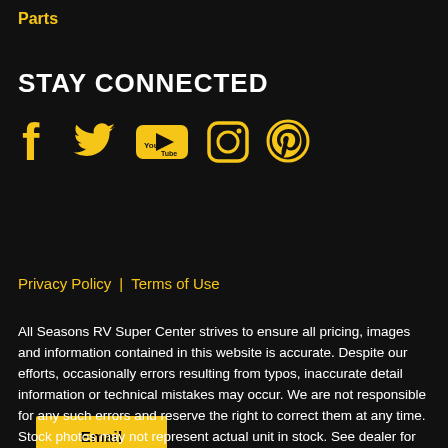Parts
STAY CONNECTED
[Figure (infographic): Social media icons: Facebook, Twitter, YouTube, Instagram, Pinterest — all in yellow/gold color on black background]
Email Subscribe
Privacy Policy | Terms of Use
All Seasons RV Super Center strives to ensure all pricing, images and information contained in this website is accurate. Despite our efforts, occasionally errors resulting from typos, inaccurate detail information or technical mistakes may occur. We are not responsible for any such errors and reserve the right to correct them at any time. Stock photos may not represent actual unit in stock. See dealer for details.